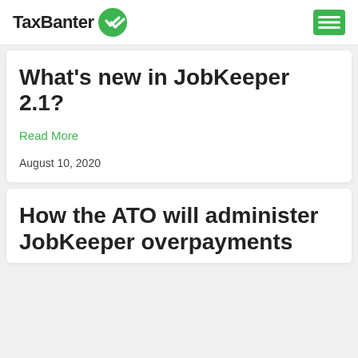TaxBanter
What's new in JobKeeper 2.1?
Read More
August 10, 2020
How the ATO will administer JobKeeper overpayments